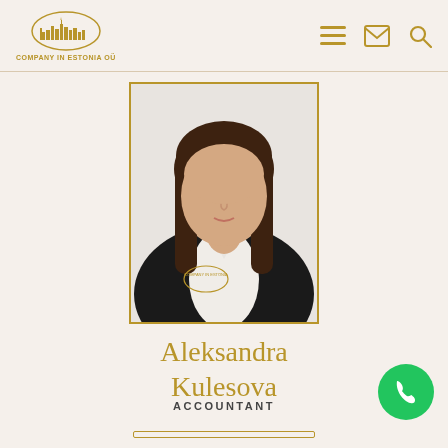COMPANY IN ESTONIA OÜ
[Figure (photo): Professional headshot of Aleksandra Kulesova wearing a dark blazer with Company in Estonia OÜ logo, white blouse, long dark hair, in a gold-bordered frame]
Aleksandra Kulesova
ACCOUNTANT